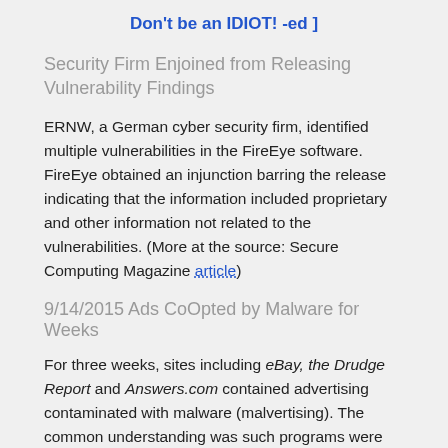Don't be an IDIOT! -ed ]
Security Firm Enjoined from Releasing Vulnerability Findings
ERNW, a German cyber security firm, identified multiple vulnerabilities in the FireEye software. FireEye obtained an injunction barring the release indicating that the information included proprietary and other information not related to the vulnerabilities. (More at the source: Secure Computing Magazine article)
9/14/2015 Ads CoOpted by Malware for Weeks
For three weeks, sites including eBay, the Drudge Report and Answers.com contained advertising contaminated with malware (malvertising). The common understanding was such programs were short lived, no longer. Just visiting the site could get you infected and often the site